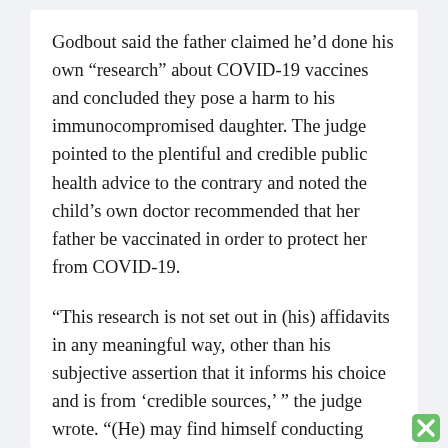Godbout said the father claimed he'd done his own “research” about COVID-19 vaccines and concluded they pose a harm to his immunocompromised daughter. The judge pointed to the plentiful and credible public health advice to the contrary and noted the child’s own doctor recommended that her father be vaccinated in order to protect her from COVID-19.
“This research is not set out in (his) affidavits in any meaningful way, other than his subjective assertion that it informs his choice and is from ‘credible sources,’ ” the judge wrote. “(He) may find himself conducting ‘research’ for